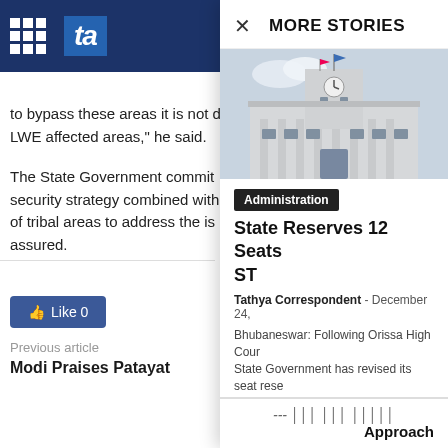ta [logo/nav bar]
to bypass these areas it is not d LWE affected areas," he said.
The State Government commit security strategy combined wit of tribal areas to address the is assured.
× MORE STORIES
[Figure (photo): Photo of a government building with clock tower and flags, grey multi-story institutional architecture]
Administration
State Reserves 12 Seats ST
Tathya Correspondent - December 24,
Bhubaneswar: Following Orissa High Cour State Government has revised its seat rese for the post of Zilla Parishad chairperson...
Like 0
Previous article
Modi Praises Patayat
Approach